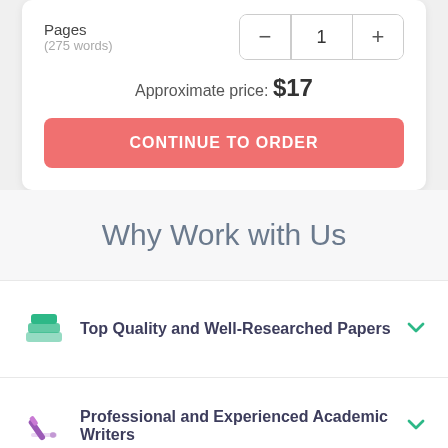Pages
(275 words)
Approximate price: $17
CONTINUE TO ORDER
Why Work with Us
Top Quality and Well-Researched Papers
Professional and Experienced Academic Writers